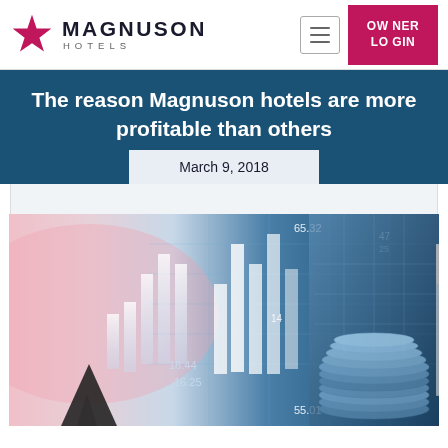[Figure (logo): Magnuson Hotels logo with pink/red star and text]
The reason Magnuson hotels are more profitable than others
March 9, 2018
[Figure (photo): Financial stock chart with candlestick bars and numbers (65.32, 18.44, 16.25, 55.01) overlaid on a blue-toned background with stacked coins on the right side]